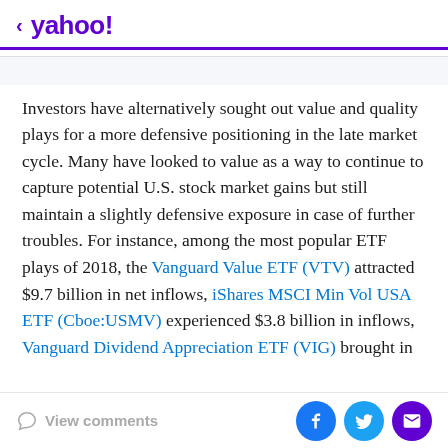< yahoo!
Investors have alternatively sought out value and quality plays for a more defensive positioning in the late market cycle. Many have looked to value as a way to continue to capture potential U.S. stock market gains but still maintain a slightly defensive exposure in case of further troubles. For instance, among the most popular ETF plays of 2018, the Vanguard Value ETF (VTV) attracted $9.7 billion in net inflows, iShares MSCI Min Vol USA ETF (Cboe:USMV) experienced $3.8 billion in inflows, Vanguard Dividend Appreciation ETF (VIG) brought in
View comments